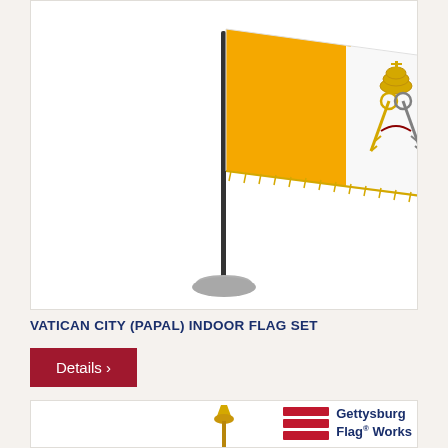[Figure (photo): Vatican City (Papal) indoor flag set on a pole with silver base, flag showing yellow and white halves with papal keys emblem and gold fringe]
VATICAN CITY (PAPAL) INDOOR FLAG SET
Details >
[Figure (logo): Gettysburg Flag Works logo with red horizontal stripes and text]
[Figure (photo): Bottom portion of another flag set showing pole with decorative top finial]